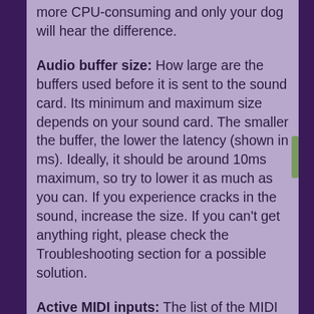more CPU-consuming and only your dog will hear the difference.
Audio buffer size: How large are the buffers used before it is sent to the sound card. Its minimum and maximum size depends on your sound card. The smaller the buffer, the lower the latency (shown in ms). Ideally, it should be around 10ms maximum, so try to lower it as much as you can. If you experience cracks in the sound, increase the size. If you can't get anything right, please check the Troubleshooting section for a possible solution.
Active MIDI inputs: The list of the MIDI inputs. This is currently not used.
MIDI Output: The MIDI outputs. This is currently not used.